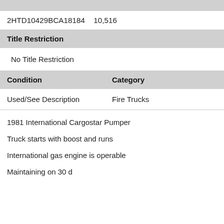2HTD10429BCA18184    10,516
Title Restriction
No Title Restriction
| Condition | Category |
| --- | --- |
| Used/See Description | Fire Trucks |
1981 International Cargostar Pumper
Truck starts with boost and runs
International gas engine is operable
Maintaining on 30 d...